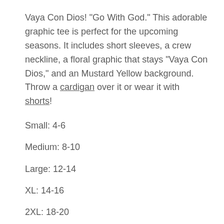Vaya Con Dios! "Go With God." This adorable graphic tee is perfect for the upcoming seasons. It includes short sleeves, a crew neckline, a floral graphic that stays "Vaya Con Dios," and an Mustard Yellow background. Throw a cardigan over it or wear it with shorts!
Small: 4-6
Medium: 8-10
Large: 12-14
XL: 14-16
2XL: 18-20
3XL: 22-24